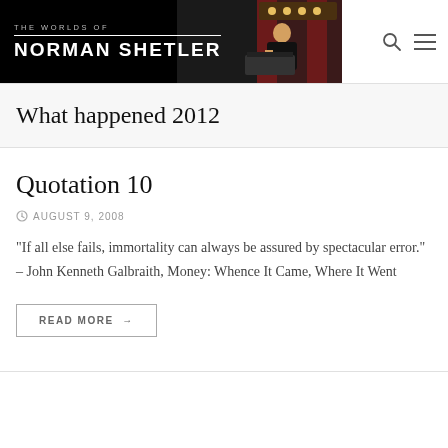[Figure (logo): The Worlds of Norman Shetler website header banner with black background, white text logo, and a photo of a pianist performing]
What happened 2012
Quotation 10
AUGUST 9, 2008
“If all else fails, immortality can always be assured by spectacular error.” – John Kenneth Galbraith, Money: Whence It Came, Where It Went
READ MORE →